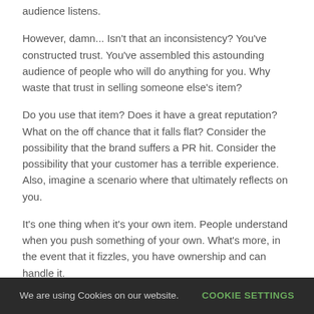audience listens.
However, damn... Isn't that an inconsistency? You've constructed trust. You've assembled this astounding audience of people who will do anything for you. Why waste that trust in selling someone else's item?
Do you use that item? Does it have a great reputation? What on the off chance that it falls flat? Consider the possibility that the brand suffers a PR hit. Consider the possibility that your customer has a terrible experience. Also, imagine a scenario where that ultimately reflects on you.
It's one thing when it's your own item. People understand when you push something of your own. What's more, in the event that it fizzles, you have ownership and can handle it.
We are using Cookies on our website.   COOKIE SETTINGS